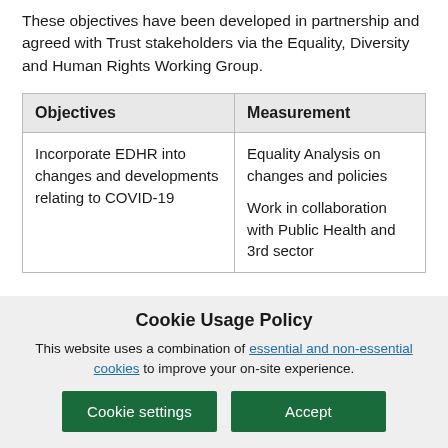These objectives have been developed in partnership and agreed with Trust stakeholders via the Equality, Diversity and Human Rights Working Group.
| Objectives | Measurement |
| --- | --- |
| Incorporate EDHR into changes and developments relating to COVID-19 | Equality Analysis on changes and policies

Work in collaboration with Public Health and 3rd sector |
Cookie Usage Policy
This website uses a combination of essential and non-essential cookies to improve your on-site experience.